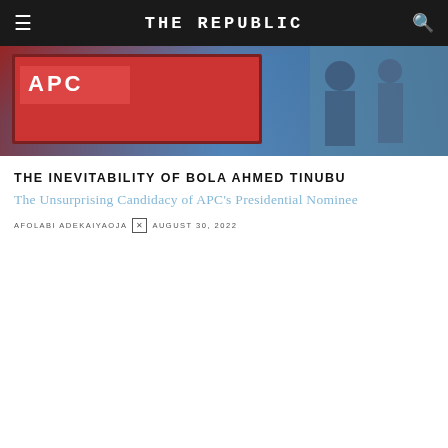THE REPUBLIC
[Figure (photo): Hero image showing APC signage and people in a blue-toned photograph]
THE INEVITABILITY OF BOLA AHMED TINUBU
The Unsurprising Candidacy of APC's Presidential Nominee
AFOLABI ADEKAIYAOJA × AUGUST 30, 2022